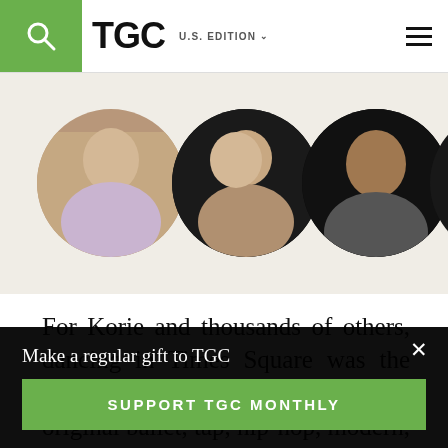TGC U.S. EDITION
[Figure (photo): Five circular portrait photos of speakers arranged in a row on a beige/cream background]
For Korie and thousands of others, dancing in Times Square was the chance of a lifetime, performing original ballet, tap, hip-hop, modern, and jazz routines while hundreds of people strolled by in the heart of the city. The
Make a regular gift to TGC
SUPPORT TGC MONTHLY